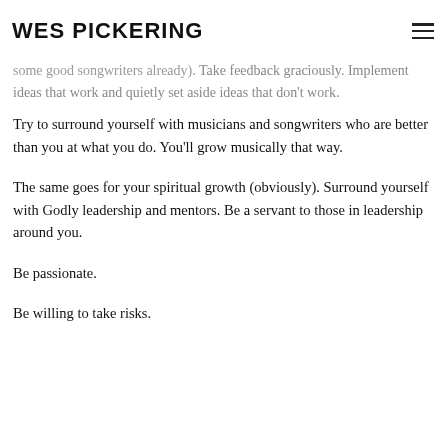WES PICKERING
some good songwriters already). Take feedback graciously. Implement ideas that work and quietly set aside ideas that don't work.
Try to surround yourself with musicians and songwriters who are better than you at what you do. You'll grow musically that way.
The same goes for your spiritual growth (obviously). Surround yourself with Godly leadership and mentors. Be a servant to those in leadership around you.
Be passionate.
Be willing to take risks.